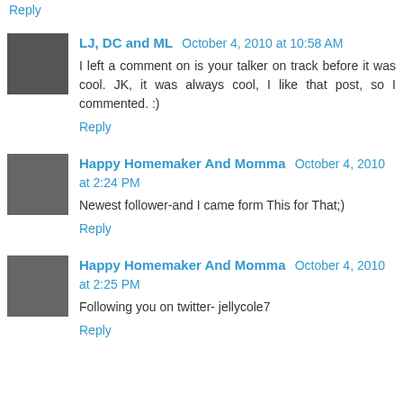Reply
LJ, DC and ML  October 4, 2010 at 10:58 AM
I left a comment on is your talker on track before it was cool. JK, it was always cool, I like that post, so I commented. :)
Reply
Happy Homemaker And Momma  October 4, 2010 at 2:24 PM
Newest follower-and I came form This for That;)
Reply
Happy Homemaker And Momma  October 4, 2010 at 2:25 PM
Following you on twitter- jellycole7
Reply